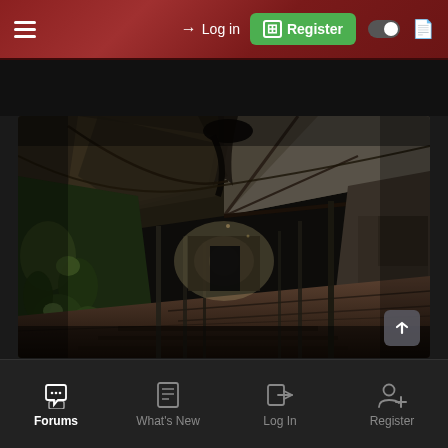≡  → Log in  ⊞ Register  ◑  ☰
[Figure (photo): Interior of an abandoned industrial warehouse or factory building. The roof is partially collapsed with torn sheeting hanging down. Ivy and moss cover the left walls. A long corridor extends into the distance with debris on the floor. Rusty metal poles line the walkway. Dim light comes from windows at the far end.]
Forums  What's New  Log In  Register